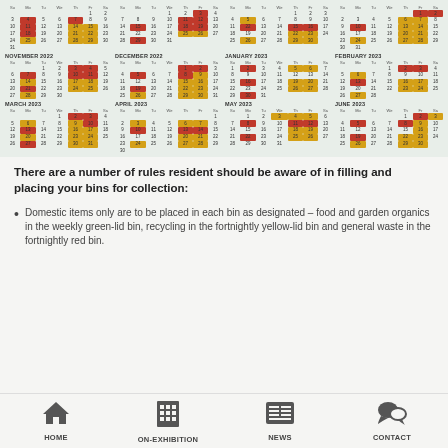[Figure (other): Waste collection calendar grid showing months from mid-2022 to June 2023, with coloured highlights (red, yellow, green) indicating different bin collection days.]
There are a number of rules resident should be aware of in filling and placing your bins for collection:
Domestic items only are to be placed in each bin as designated – food and garden organics in the weekly green-lid bin, recycling in the fortnightly yellow-lid bin and general waste in the fortnightly red bin.
HOME | ON-EXHIBITION | NEWS | CONTACT